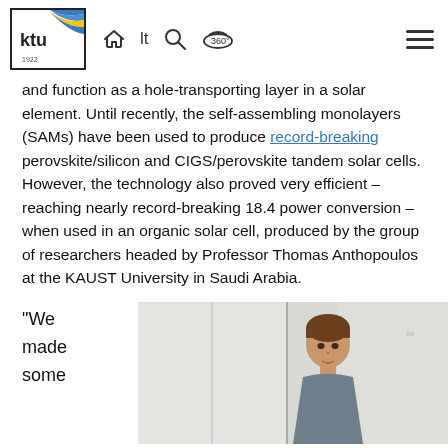KTU logo and navigation header with home, lt, search, 360 icons and hamburger menu
and function as a hole-transporting layer in a solar element. Until recently, the self-assembling monolayers (SAMs) have been used to produce record-breaking perovskite/silicon and CIGS/perovskite tandem solar cells. However, the technology also proved very efficient – reaching nearly record-breaking 18.4 power conversion – when used in an organic solar cell, produced by the group of researchers headed by Professor Thomas Anthopoulos at the KAUST University in Saudi Arabia.
“We made some
[Figure (photo): A young man with short brown hair wearing a grey t-shirt, standing in front of white cabinets/lockers in what appears to be a laboratory or office setting.]